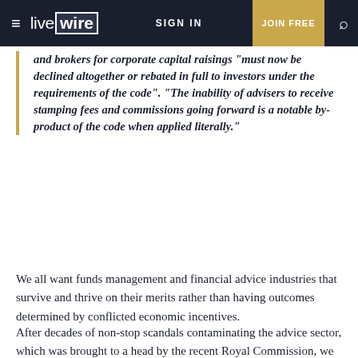livewire | SIGN IN | JOIN FREE
and brokers for corporate capital raisings "must now be declined altogether or rebated in full to investors under the requirements of the code". "The inability of advisers to receive stamping fees and commissions going forward is a notable by-product of the code when applied literally."
We all want funds management and financial advice industries that survive and thrive on their merits rather than having outcomes determined by conflicted economic incentives.
After decades of non-stop scandals contaminating the advice sector, which was brought to a head by the recent Royal Commission, we also want to ensure that